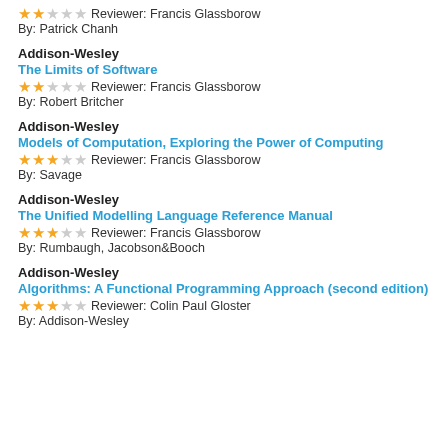★★☆☆☆ Reviewer: Francis Glassborow
By: Patrick Chanh
Addison-Wesley
The Limits of Software
★★☆☆☆ Reviewer: Francis Glassborow
By: Robert Britcher
Addison-Wesley
Models of Computation, Exploring the Power of Computing
★★★☆☆ Reviewer: Francis Glassborow
By: Savage
Addison-Wesley
The Unified Modelling Language Reference Manual
★★★☆☆ Reviewer: Francis Glassborow
By: Rumbaugh, Jacobson&Booch
Addison-Wesley
Algorithms: A Functional Programming Approach (second edition)
★★★☆☆ Reviewer: Colin Paul Gloster
By: Addison-Wesley